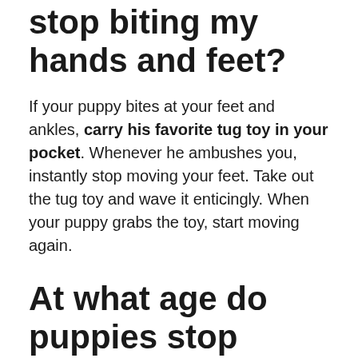stop biting my hands and feet?
If your puppy bites at your feet and ankles, carry his favorite tug toy in your pocket. Whenever he ambushes you, instantly stop moving your feet. Take out the tug toy and wave it enticingly. When your puppy grabs the toy, start moving again.
At what age do puppies stop biting?
The most important thing to remember is that for the vast majority of puppies, mouthing or play biting is a phase that they will typically grow out of once they reach between three and five months of age.